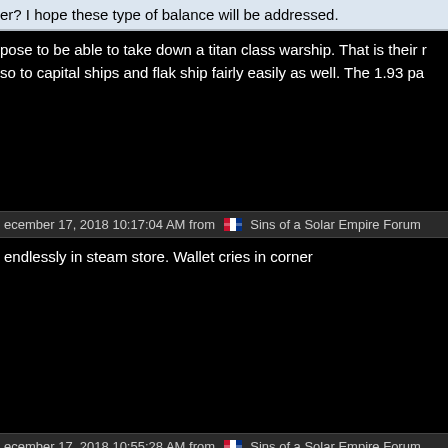er? I hope these type of balance will be addressed.
pose to be able to take down a titan class warship. That is their r...so to capital ships and flak ship fairly easily as well. The 1.93 pa...
ecember 17, 2018 10:17:04 AM from  Sins of a Solar Empire Forum
endlessly in steam store. Wallet cries in corner
ecember 17, 2018 10:55:28 AM from  Sins of a Solar Empire Forum
t, reply 8